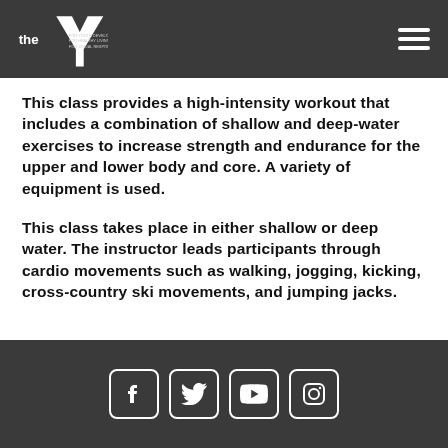YMCA — For Youth Development · For Healthy Living · For Social Responsibility
This class provides a high-intensity workout that includes a combination of shallow and deep-water exercises to increase strength and endurance for the upper and lower body and core. A variety of equipment is used.
This class takes place in either shallow or deep water. The instructor leads participants through cardio movements such as walking, jogging, kicking, cross-country ski movements, and jumping jacks.
VIEW CLASS SCHEDULE
[Figure (logo): Social media icons: Facebook, Twitter, YouTube, Instagram]